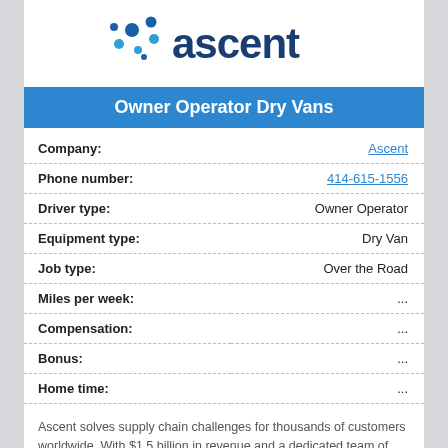[Figure (logo): Ascent company logo with dot pattern and blue text]
Owner Operator Dry Vans
| Field | Value |
| --- | --- |
| Company: | Ascent |
| Phone number: | 414-615-1556 |
| Driver type: | Owner Operator |
| Equipment type: | Dry Van |
| Job type: | Over the Road |
| Miles per week: | ... |
| Compensation: | ... |
| Bonus: | ... |
| Home time: | ... |
Ascent solves supply chain challenges for thousands of customers worldwide. With $1.5 billion in revenue and a dedicated team of 950+ industry experts in 21 locations across North America, Ascent is recognized as one of the...